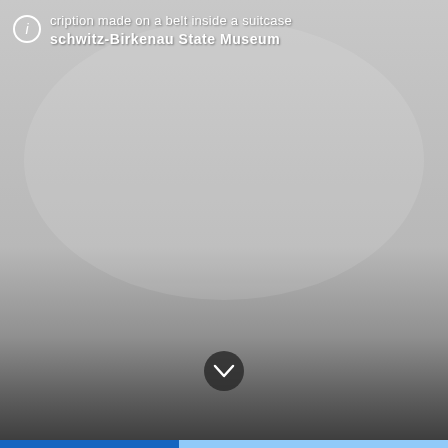[Figure (photo): Screenshot of a museum digital interface showing a gray gradient background with an info overlay at the top left. The overlay includes a circled 'i' icon and two lines of white text: 'cription made on a belt inside a suitcase' and 'schwitz-Birkenau State Museum' in bold. A dark circular chevron/down-arrow button appears near the bottom center. A blue bar is at the very bottom.]
cription made on a belt inside a suitcase
schwitz-Birkenau State Museum